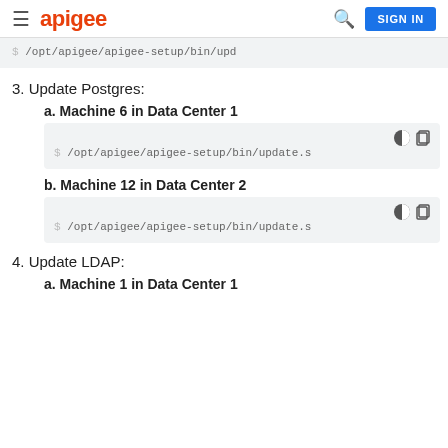apigee
[Figure (screenshot): Code block showing: $ /opt/apigee/apigee-setup/bin/upd]
3. Update Postgres:
a. Machine 6 in Data Center 1
[Figure (screenshot): Code block showing: $ /opt/apigee/apigee-setup/bin/update.s]
b. Machine 12 in Data Center 2
[Figure (screenshot): Code block showing: $ /opt/apigee/apigee-setup/bin/update.s]
4. Update LDAP:
a. Machine 1 in Data Center 1